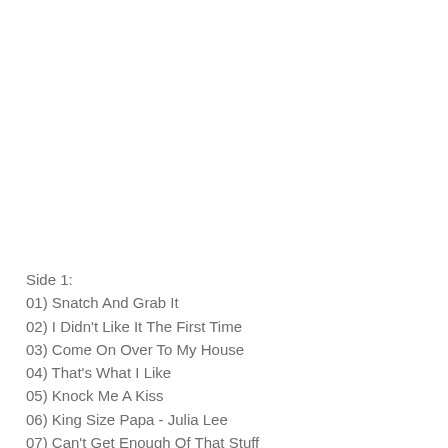Side 1:
01) Snatch And Grab It
02) I Didn't Like It The First Time
03) Come On Over To My House
04) That's What I Like
05) Knock Me A Kiss
06) King Size Papa - Julia Lee
07) Can't Get Enough Of That Stuff
08) Gotta Gimme Whatcha Got